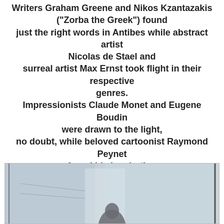Writers Graham Greene and Nikos Kzantazakis ("Zorba the Greek") found just the right words in Antibes while abstract artist Nicolas de Stael and surreal artist Max Ernst took flight in their respective genres. Impressionists Claude Monet and Eugene Boudin were drawn to the light, no doubt, while beloved cartoonist Raymond Peynet found his inspiration in the sun-kissed glow of the beach for his winsome "paper lovers" designs.
"Love is the greatest refreshment in life."
Pablo Picasso
[Figure (photo): A photo showing what appears to be an interior scene with muted blue-grey tones, a partial silhouette or figure visible at the bottom center.]